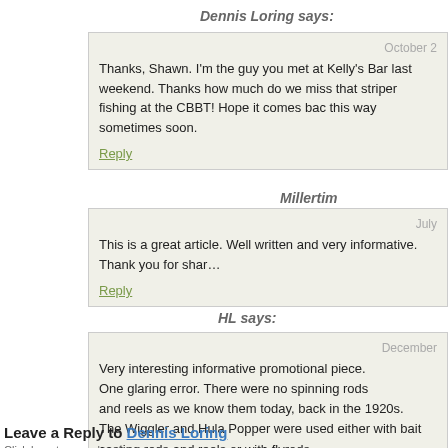Dennis Loring says:
October 2
Thanks, Shawn. I'm the guy you met at Kelly's Bar last weekend. Thanks how much do we miss that striper fishing at the CBBT! Hope it comes back this way sometimes soon.
Reply
Millertim
July
This is a great article. Well written and very informative. Thank you for sharing.
Reply
HL says:
December
Very interesting informative promotional piece.
One glaring error. There were no spinning rods
and reels as we know them today, back in the 1920s.
The Wiggler and Hula Popper were used either with bait
casting rods and reels or with flyrods.
Editorial corrections needed.
Reply
Leave a Reply to Dennis Loring
Click here to cancel reply.